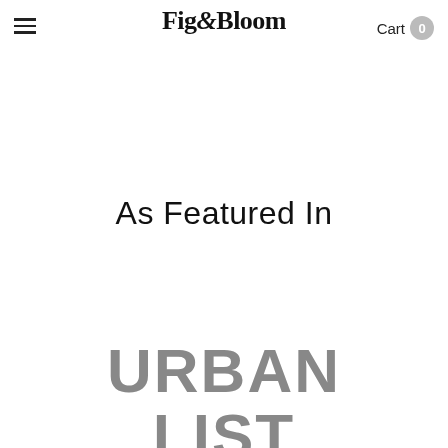Fig&Bloom — Cart 0
As Featured In
[Figure (logo): Urban List logo in gray bold uppercase text, two lines: URBAN / LIST]